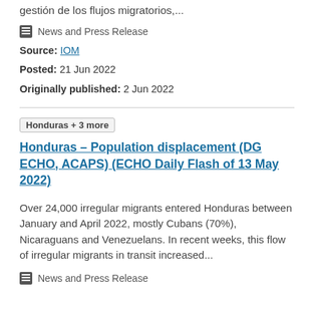gestión de los flujos migratorios,...
News and Press Release
Source: IOM
Posted: 21 Jun 2022
Originally published: 2 Jun 2022
Honduras – Population displacement (DG ECHO, ACAPS) (ECHO Daily Flash of 13 May 2022)
Over 24,000 irregular migrants entered Honduras between January and April 2022, mostly Cubans (70%), Nicaraguans and Venezuelans. In recent weeks, this flow of irregular migrants in transit increased...
News and Press Release